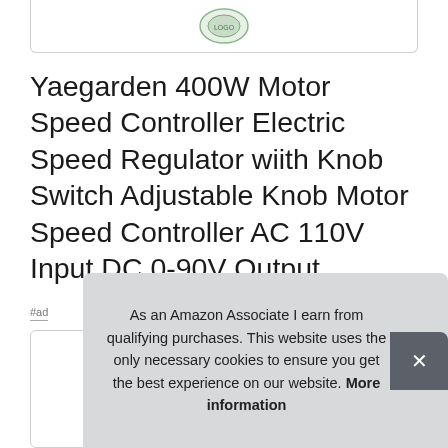[Figure (photo): Partial product image at the top, showing the bottom edge of a product photo with a circular green logo/label visible, inside a bordered card.]
Yaegarden 400W Motor Speed Controller Electric Speed Regulator wiith Knob Switch Adjustable Knob Motor Speed Controller AC 110V Input DC 0-90V Output
#ad
As an Amazon Associate I earn from qualifying purchases. This website uses the only necessary cookies to ensure you get the best experience on our website. More information